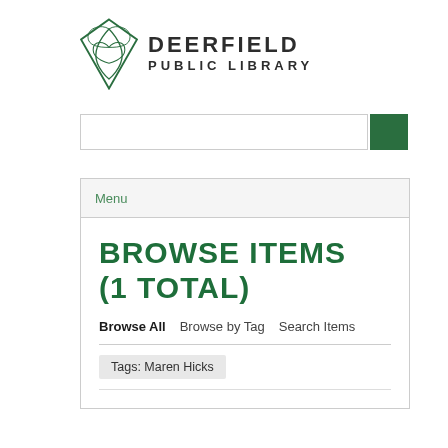[Figure (logo): Deerfield Public Library logo with stylized leaf/book mark and text 'DEERFIELD PUBLIC LIBRARY']
[Figure (screenshot): Search input bar with dark green search button on the right]
Menu
BROWSE ITEMS (1 TOTAL)
Browse All   Browse by Tag   Search Items
Tags: Maren Hicks